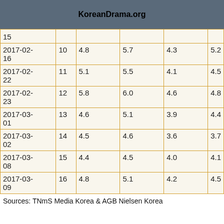KoreanDrama.org
| Date | Ep | Col3 | Col4 | Col5 | Col6 |
| --- | --- | --- | --- | --- | --- |
|  | 15 |  |  |  |  |
| 2017-02-16 | 10 | 4.8 | 5.7 | 4.3 | 5.2 |
| 2017-02-22 | 11 | 5.1 | 5.5 | 4.1 | 4.5 |
| 2017-02-23 | 12 | 5.8 | 6.0 | 4.6 | 4.8 |
| 2017-03-01 | 13 | 4.6 | 5.1 | 3.9 | 4.4 |
| 2017-03-02 | 14 | 4.5 | 4.6 | 3.6 | 3.7 |
| 2017-03-08 | 15 | 4.4 | 4.5 | 4.0 | 4.1 |
| 2017-03-09 | 16 | 4.8 | 5.1 | 4.2 | 4.5 |
Sources: TNmS Media Korea & AGB Nielsen Korea